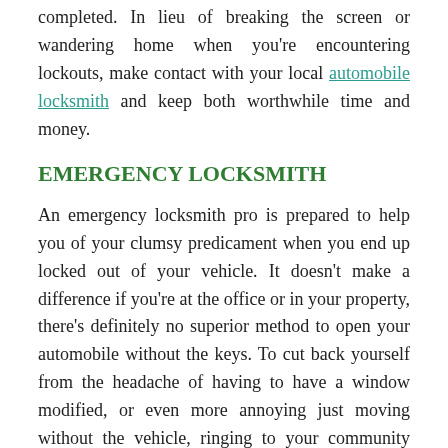completed. In lieu of breaking the screen or wandering home when you're encountering lockouts, make contact with your local automobile locksmith and keep both worthwhile time and money.
EMERGENCY LOCKSMITH
An emergency locksmith pro is prepared to help you of your clumsy predicament when you end up locked out of your vehicle. It doesn't make a difference if you're at the office or in your property, there's definitely no superior method to open your automobile without the keys. To cut back yourself from the headache of having to have a window modified, or even more annoying just moving without the vehicle, ringing to your community locksmith will assist you to conserve time. For the Steilacoom location, vehicle lockouts will no longer have to become a complexity, and Professional locksmiths Steilacoom